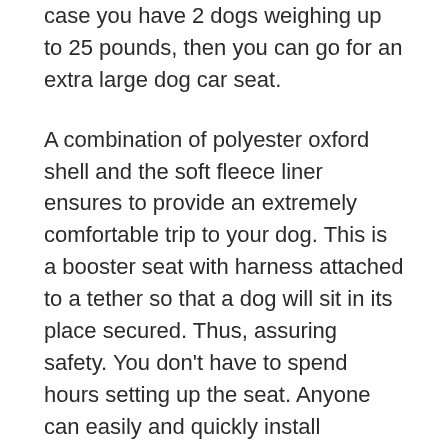case you have 2 dogs weighing up to 25 pounds, then you can go for an extra large dog car seat.
A combination of polyester oxford shell and the soft fleece liner ensures to provide an extremely comfortable trip to your dog. This is a booster seat with harness attached to a tether so that a dog will sit in its place secured. Thus, assuring safety. You don't have to spend hours setting up the seat. Anyone can easily and quickly install adjustable straps on any back seat with headrests. We found that this durable, safe, and machine-washable bed is one of the